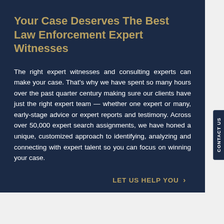Your Case Deserves The Best Law Enforcement Expert Witnesses
The right expert witnesses and consulting experts can make your case. That's why we have spent so many hours over the past quarter century making sure our clients have just the right expert team — whether one expert or many, early-stage advice or expert reports and testimony. Across over 50,000 expert search assignments, we have honed a unique, customized approach to identifying, analyzing and connecting with expert talent so you can focus on winning your case.
LET US HELP YOU >